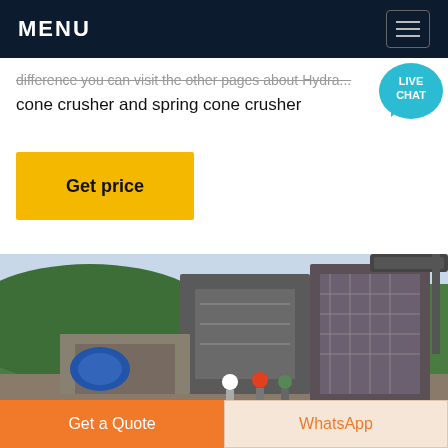MENU
difference you can visit the other pages about Hydra... cone crusher and spring cone crusher
Get price
[Figure (photo): Industrial cone crusher machinery at an outdoor site with green hills in the background. Workers visible at the base. Large metal crushing equipment with a blue motor and conveyor belt visible.]
Get a Quote
WhatsApp